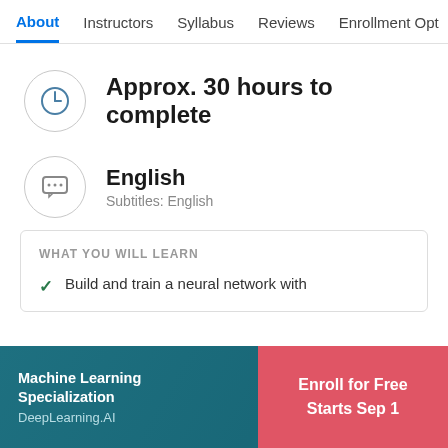About  Instructors  Syllabus  Reviews  Enrollment Opt
Approx. 30 hours to complete
English
Subtitles: English
WHAT YOU WILL LEARN
Build and train a neural network with
Machine Learning Specialization
DeepLearning.AI
Enroll for Free
Starts Sep 1